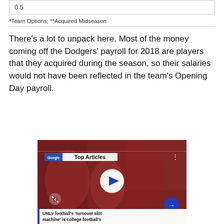| 0.5 |
*Team Options; **Acquired Midseason
There's a lot to unpack here. Most of the money coming off the Dodgers' payroll for 2018 are players that they acquired during the season, so their salaries would not have been reflected in the team's Opening Day payroll.
[Figure (screenshot): Video player showing football players in red uniforms with 'Top Articles' label overlay, play button, and caption 'UNLV football’s ‘turnover slot machine’ is college football’s']